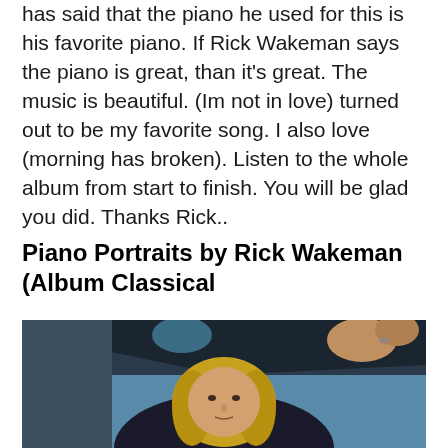has said that the piano he used for this is his favorite piano. If Rick Wakeman says the piano is great, than it's great. The music is beautiful. (Im not in love) turned out to be my favorite song. I also love (morning has broken). Listen to the whole album from start to finish. You will be glad you did. Thanks Rick..
Piano Portraits by Rick Wakeman (Album Classical
[Figure (photo): Photo of Rick Wakeman seated at a piano, with long blonde/white hair, wearing dark clothing. The piano lid is visible above him.]